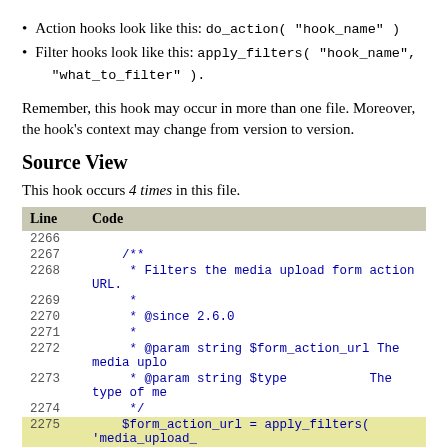Action hooks look like this: do_action( "hook_name" )
Filter hooks look like this: apply_filters( "hook_name", "what_to_filter" ).
Remember, this hook may occur in more than one file. Moreover, the hook's context may change from version to version.
Source View
This hook occurs 4 times in this file.
| Line | Code |
| --- | --- |
| 2266 |  |
| 2267 |     /** |
| 2268 |      * Filters the media upload form action URL. |
| 2269 |      * |
| 2270 |      * @since 2.6.0 |
| 2271 |      * |
| 2272 |      * @param string $form_action_url The media uplo |
| 2273 |      * @param string $type           The type of me |
| 2274 |      */ |
| 2275 |     $form_action_url = apply_filters( 'media_upload_ |
| 2276 |     $form_class      = 'media-upload-form type-form |
| 2277 |  |
| 2278 |     if ( get_user_setting( 'uploader' ) ) { |